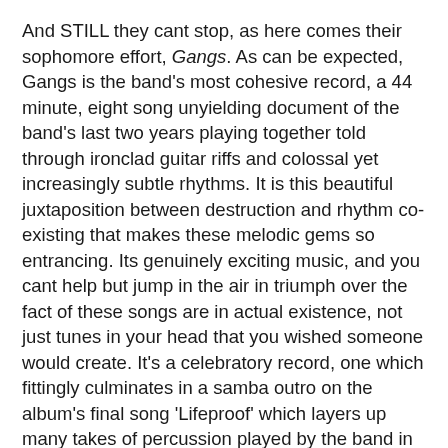And STILL they cant stop, as here comes their sophomore effort, Gangs. As can be expected, Gangs is the band's most cohesive record, a 44 minute, eight song unyielding document of the band's last two years playing together told through ironclad guitar riffs and colossal yet increasingly subtle rhythms. It is this beautiful juxtaposition between destruction and rhythm co-existing that makes these melodic gems so entrancing. Its genuinely exciting music, and you cant help but jump in the air in triumph over the fact of these songs are in actual existence, not just tunes in your head that you wished someone would create. It's a celebratory record, one which fittingly culminates in a samba outro on the album's final song 'Lifeproof' which layers up many takes of percussion played by the band in the studio until a carnival atmosphere is created, whistles and all. The heart of Gangs is a section entitled Homes: 'Ghost Parlor KA-6 to Samara to Belfast' which spans tracks six and seven. It's a near 10 minute epic which taps into the emotions of returning to familiar places and visiting new ones for the very first time.
Guitarist Rory explains: “It's a cheesy thought but we wanted